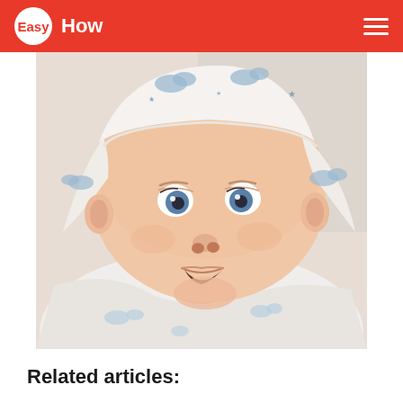Easy How
[Figure (photo): Close-up photo of a baby with bright blue eyes looking upward, wearing a white hat and outfit with blue cloud and star patterns.]
Related articles: